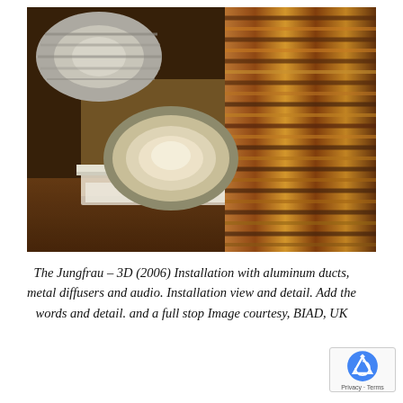[Figure (photo): Close-up photograph of flexible aluminum HVAC ducts with metallic foil material, showing ridged spiral structure. One duct visible on the left cut open showing the interior, with warm brown/copper tones in the lighting. Background shows a wooden floor and white wall trim.]
The Jungfrau – 3D (2006) Installation with aluminum ducts, metal diffusers and audio. Installation view and detail. Add the words and detail. and a full stop Image courtesy, BIAD, UK